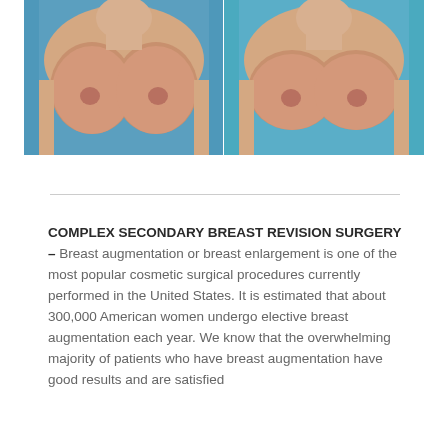[Figure (photo): Before and after clinical photos of breast augmentation/revision surgery patient, shown side by side against a blue background]
COMPLEX SECONDARY BREAST REVISION SURGERY – Breast augmentation or breast enlargement is one of the most popular cosmetic surgical procedures currently performed in the United States. It is estimated that about 300,000 American women undergo elective breast augmentation each year. We know that the overwhelming majority of patients who have breast augmentation have good results and are satisfied